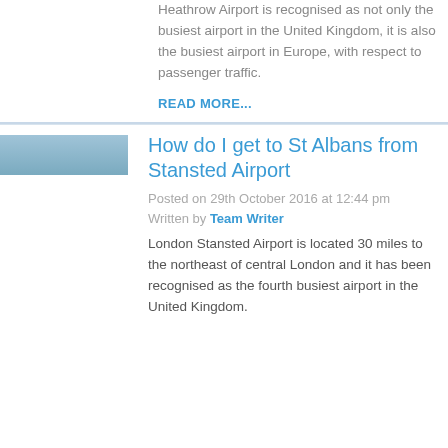Heathrow Airport is recognised as not only the busiest airport in the United Kingdom, it is also the busiest airport in Europe, with respect to passenger traffic.
READ MORE...
How do I get to St Albans from Stansted Airport
Posted on 29th October 2016 at 12:44 pm
Written by Team Writer
London Stansted Airport is located 30 miles to the northeast of central London and it has been recognised as the fourth busiest airport in the United Kingdom.